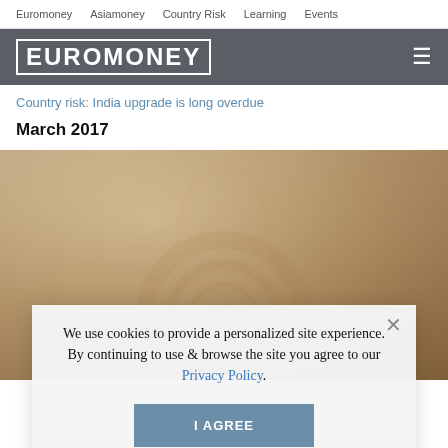Euromoney   Asiamoney   Country Risk   Learning   Events
[Figure (logo): Euromoney logo in white text on dark grey bar with hamburger menu icon]
Country risk: India upgrade is long overdue
March 2017
[Figure (photo): Background photo partially visible, showing blurred face/portrait with warm brown and gold tones]
We use cookies to provide a personalized site experience.
By continuing to use & browse the site you agree to our Privacy Policy.
I AGREE